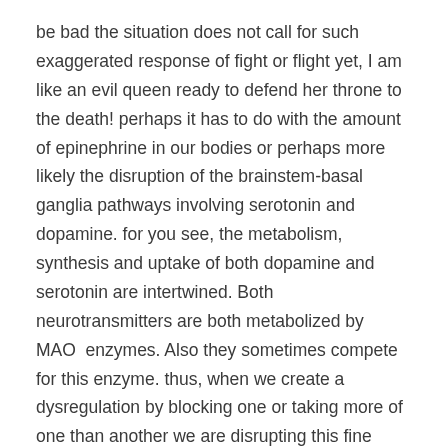be bad the situation does not call for such exaggerated response of fight or flight yet, I am like an evil queen ready to defend her throne to the death! perhaps it has to do with the amount of epinephrine in our bodies or perhaps more likely the disruption of the brainstem-basal ganglia pathways involving serotonin and dopamine. for you see, the metabolism, synthesis and uptake of both dopamine and serotonin are intertwined. Both neurotransmitters are both metabolized by MAO  enzymes. Also they sometimes compete for this enzyme. thus, when we create a dysregulation by blocking one or taking more of one than another we are disrupting this fine balance.
After all we take gobs of dopamine and block its degradation in every fashion and form so it must follow its normal path of synthesis- ultimately leading to